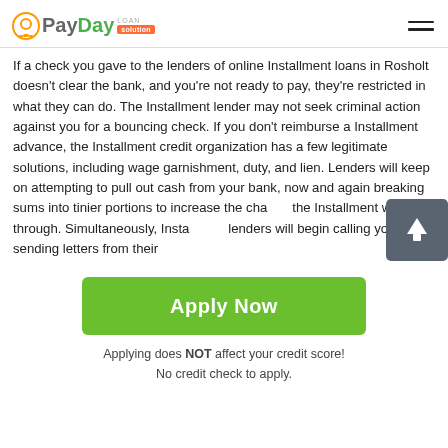PayDay Loan Solution
If a check you gave to the lenders of online Installment loans in Rosholt doesn't clear the bank, and you're not ready to pay, they're restricted in what they can do. The Installment lender may not seek criminal action against you for a bouncing check. If you don't reimburse a Installment advance, the Installment credit organization has a few legitimate solutions, including wage garnishment, duty, and lien. Lenders will keep on attempting to pull out cash from your bank, now and again breaking sums into tinier portions to increase the chance the Installment will go through. Simultaneously, Installment lenders will begin calling you and sending letters from their
[Figure (other): Green Apply Now button]
Applying does NOT affect your credit score! No credit check to apply.